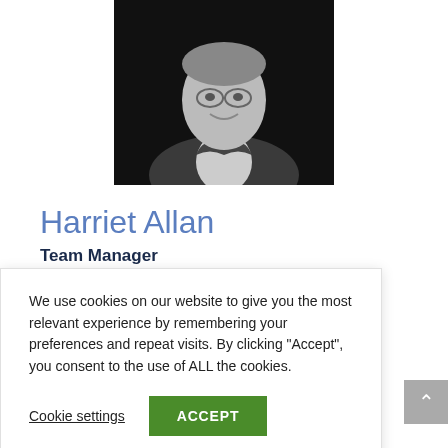[Figure (photo): Black and white portrait photograph of Harriet Allan smiling, wearing a light shirt and jacket]
Harriet Allan
Team Manager
Harriet has a BSc in Business and
11 years' ally helped he ps lead f work alking her ring on
We use cookies on our website to give you the most relevant experience by remembering your preferences and repeat visits. By clicking "Accept", you consent to the use of ALL the cookies.
Cookie settings
ACCEPT
Swansea City FC.